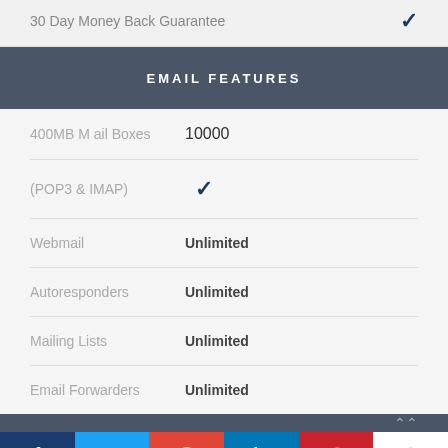30 Day Money Back Guarantee ✓
EMAIL FEATURES
400MB Mail Boxes  10000
(POP3 & IMAP) ✓
Webmail  Unlimited
Autoresponders  Unlimited
Mailing Lists  Unlimited
Email Forwarders  Unlimited
f  t  G  in  p  +